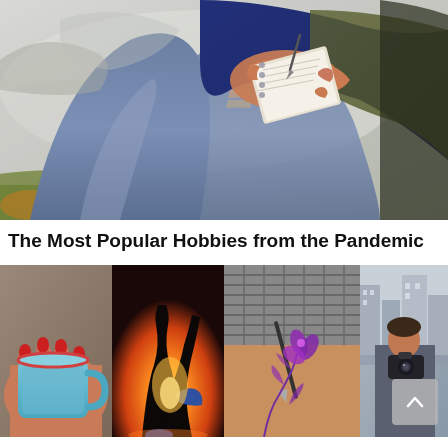[Figure (photo): Person sitting outdoors writing in a notebook, wearing jeans and a blue sweater, with blurred green/grey background]
The Most Popular Hobbies from the Pandemic
[Figure (photo): Four thumbnail photos: a hand holding a blue coffee mug with red nails; legs of a runner backlit by sunset; a hand with grey sweater drawing/tattooing a floral design; and a partial view of a person outdoors with a camera]
[Figure (photo): Hand holding a blue coffee mug with red nail polish]
[Figure (photo): Runner's legs backlit by golden sunset]
[Figure (photo): Hand drawing or tattooing a purple floral design]
[Figure (photo): Person outdoors with a camera, city/building in background]